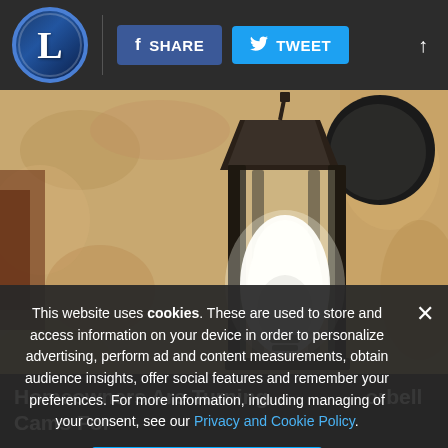L | SHARE | TWEET
[Figure (photo): Close-up photo of an outdoor wall lantern light fixture with a white bulb inside a black metal frame, mounted on a beige stucco wall]
This website uses cookies. These are used to store and access information on your device in order to personalize advertising, perform ad and content measurements, obtain audience insights, offer social features and remember your preferences. For more information, including managing of your consent, see our Privacy and Cookie Policy.
ACCEPT
Homeowners Are Turning Doorbell Cams For